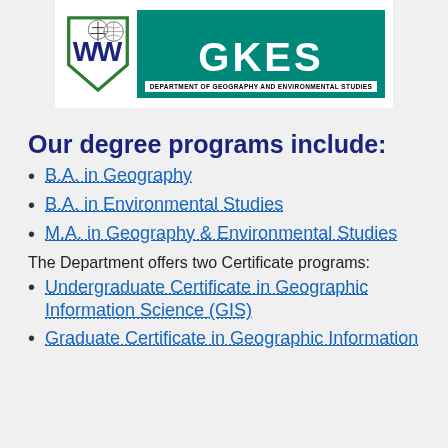[Figure (logo): GKES Department of Geography and Environmental Studies logo with shield emblem and green banner]
Our degree programs include:
B.A. in Geography
B.A. in Environmental Studies
M.A. in Geography & Environmental Studies
The Department offers two Certificate programs:
Undergraduate Certificate in Geographic Information Science (GIS)
Graduate Certificate in Geographic Information